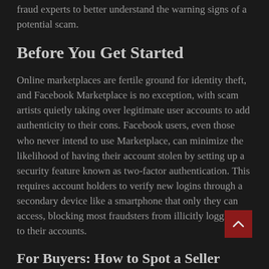fraud experts to better understand the warning signs of a potential scam.
Before You Get Started
Online marketplaces are fertile ground for identity theft, and Facebook Marketplace is no exception, with scam artists quietly taking over legitimate user accounts to add authenticity to their cons. Facebook users, even those who never intend to use Marketplace, can minimize the likelihood of having their account stolen by setting up a security feature known as two-factor authentication. This requires account holders to verify new logins through a secondary device like a smartphone that only they can access, blocking most fraudsters from illicitly logging in to their accounts.
For Buyers: How to Spot a Seller Scam on